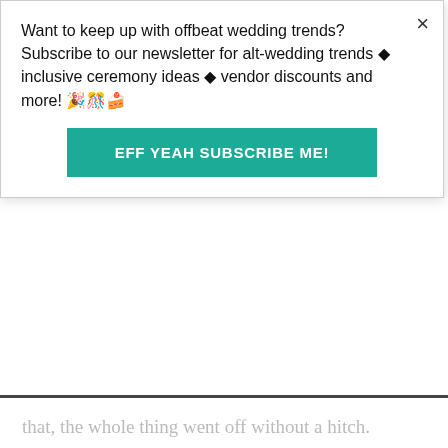Want to keep up with offbeat wedding trends?Subscribe to our newsletter for alt-wedding trends • inclusive ceremony ideas • vendor discounts and more! 🎉🎊🍰
EFF YEAH SUBSCRIBE ME!
Our biggest challenge: The unexpected. We were both sick for the whole weekend. That's one of the things you don't think about when planning for a wedding. Luckily, we had a ton of helpful friends and family who got all the decor and setup taken care of while the bride lay in bed thinking she was going to die. We powered through though, and in the pictures you can't even tell. Other than that, the whole thing went off without a hitch.